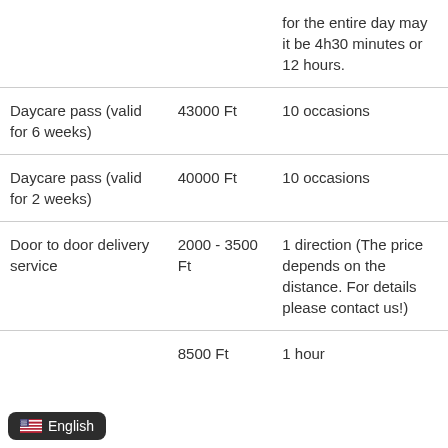|  |  | for the entire day may it be 4h30 minutes or 12 hours. |
| Daycare pass (valid for 6 weeks) | 43000 Ft | 10 occasions |
| Daycare pass (valid for 2 weeks) | 40000 Ft | 10 occasions |
| Door to door delivery service | 2000 - 3500 Ft | 1 direction (The price depends on the distance. For details please contact us!) |
|  | 8500 Ft | 1 hour |